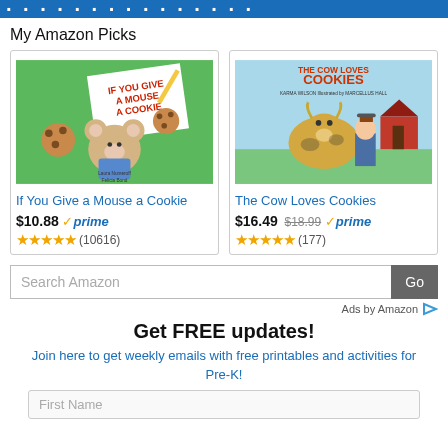...decorative dots header bar...
My Amazon Picks
[Figure (illustration): Book cover: If You Give a Mouse a Cookie - children's book with a mouse character holding a cookie]
If You Give a Mouse a Cookie
$10.88 prime (10616 reviews, 4.5 stars)
[Figure (illustration): Book cover: The Cow Loves Cookies - children's book with a cow and farmer]
The Cow Loves Cookies
$16.49 $18.99 prime (177 reviews, 4.5 stars)
Search Amazon
Ads by Amazon
Get FREE updates!
Join here to get weekly emails with free printables and activities for Pre-K!
First Name